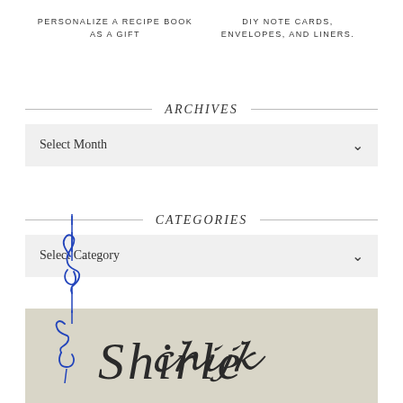PERSONALIZE A RECIPE BOOK AS A GIFT
DIY NOTE CARDS, ENVELOPES, AND LINERS.
ARCHIVES
Select Month
CATEGORIES
Select Category
[Figure (illustration): A tan/beige colored banner or image area at the bottom with decorative cursive script text partially visible]